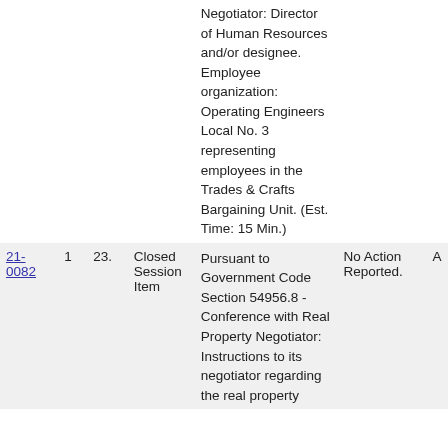| File # | Ver | Agenda # | Type | Subject | Action |  |
| --- | --- | --- | --- | --- | --- | --- |
|  |  |  |  | Negotiator: Director of Human Resources and/or designee. Employee organization: Operating Engineers Local No. 3 representing employees in the Trades & Crafts Bargaining Unit. (Est. Time: 15 Min.) |  |  |
| 21-0082 | 1 | 23. | Closed Session Item | Pursuant to Government Code Section 54956.8 - Conference with Real Property Negotiator: Instructions to its negotiator regarding the real property | No Action Reported. | A |